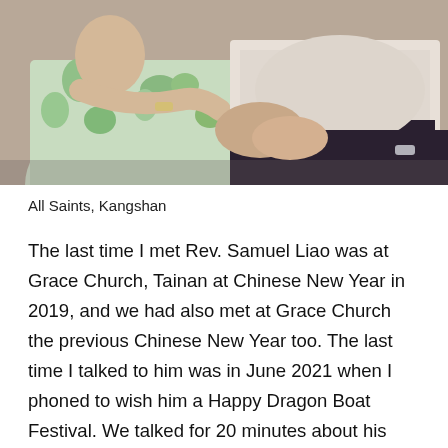[Figure (photo): A photograph showing two elderly people seated together. On the left is a woman wearing a green floral dress with a watch, and on the right is a man wearing a light-colored shirt and dark pants with a watch. Their hands are clasped together.]
All Saints, Kangshan
The last time I met Rev. Samuel Liao was at Grace Church, Tainan at Chinese New Year in 2019, and we had also met at Grace Church the previous Chinese New Year too. The last time I talked to him was in June 2021 when I phoned to wish him a Happy Dragon Boat Festival. We talked for 20 minutes about his great love for the Anglican Church, his wide reading of English history and love for church traditions, and how he continued to serve as spiritual advisor to 2 of our seminarians, using just his